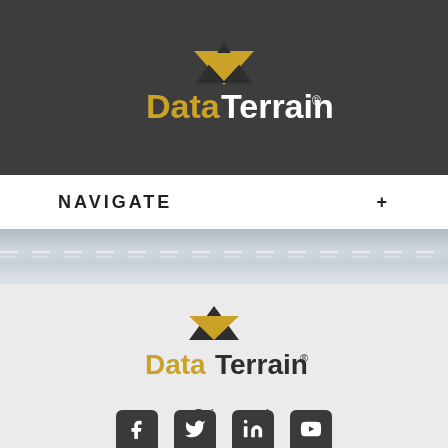[Figure (logo): DataTerrain logo in white/gold on dark background header]
NAVIGATE +
[Figure (photo): Road/highway photo band]
[Figure (logo): DataTerrain logo on light gray background]
connect@dataterrain.com
650-701-1100
[Figure (infographic): Social media icons: Facebook, Twitter, LinkedIn, YouTube on dark rounded square backgrounds]